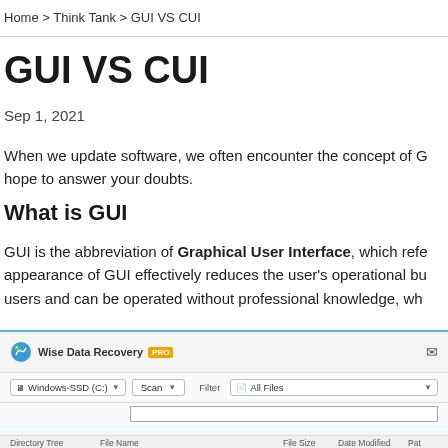Home > Think Tank > GUI VS CUI
GUI VS CUI
Sep 1, 2021
When we update software, we often encounter the concept of G hope to answer your doubts.
What is GUI
GUI is the abbreviation of Graphical User Interface, which refe appearance of GUI effectively reduces the user's operational bu users and can be operated without professional knowledge, wh
[Figure (screenshot): Screenshot of Wise Data Recovery PRO application showing main interface with Windows-SSD (C:) drive selector, Scan button, Filter dropdown with All Files option, and column headers for Directory Tree, File Name, File Size, Date Modified, Path]